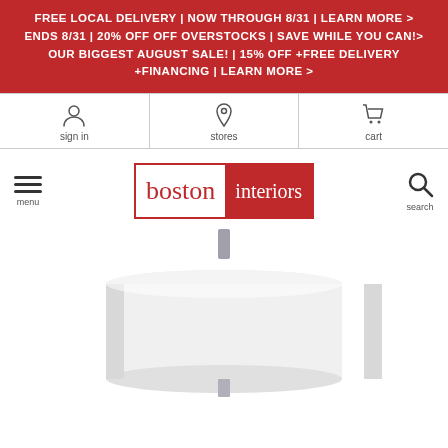FREE LOCAL DELIVERY | NOW THROUGH 8/31 | LEARN MORE > ENDS 8/31 | 20% OFF OFF OVERSTOCKS | SAVE WHILE YOU CAN!> OUR BIGGEST AUGUST SALE! | 15% OFF +FREE DELIVERY +FINANCING | LEARN MORE >
[Figure (screenshot): Navigation bar with sign in, stores, and cart icons]
[Figure (logo): Boston Interiors logo — 'boston' in red text on white, 'interiors' in white text on red background]
[Figure (photo): Table lamp with white cylindrical drum shade and metal base, partially visible]